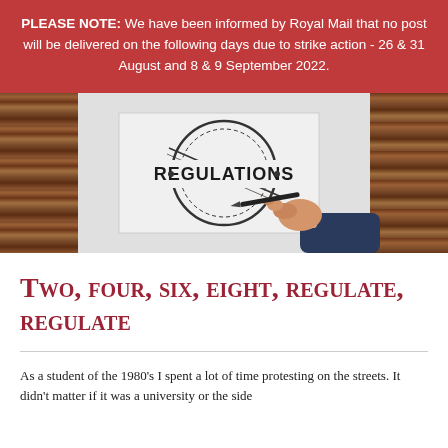PLEASE NOTE: We have been informed by Royal Mail that no post will be delivered on the following days due to strike action - 26 & 31 August and 8 & 9 September 2022.
[Figure (photo): Composite image showing a wooden panel background on the left and right, a white paper in the center with a circular stamp reading 'REGULATIONS', and a hand holding a pen signing the paper on the right side.]
Two, four, six, eight, regulate, regulate
As a student of the 1980's I spent a lot of time protesting on the streets. It didn't matter if it was a university or the side